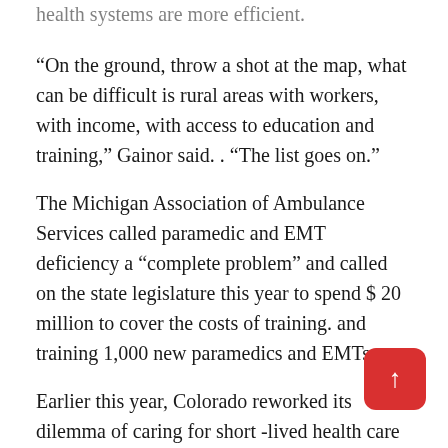health systems are more efficient.
“On the ground, throw a shot at the map, what can be difficult is rural areas with workers, with income, with access to education and training,” Gainor said. . “The list goes on.”
The Michigan Association of Ambulance Services called paramedic and EMT deficiency a “complete problem” and called on the state legislature this year to spend $ 20 million to cover the costs of training. and training 1,000 new paramedics and EMTs.
Earlier this year, Colorado reworked its dilemma of caring for short -lived health care workers seeing rising demands for ambulances at a time of rising emerg…s. covid. The lack of a problem that combined a medical center and a high school in Denver to offer classes